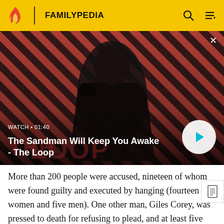FAMILYPEDIA
[Figure (screenshot): Video thumbnail for 'The Sandman Will Keep You Awake - The Loop' showing a dark-cloaked figure with a bird on shoulder against a red and dark diagonal striped background. Includes watch label 'WATCH • 01:40' and a play button.]
The Sandman Will Keep You Awake - The Loop
More than 200 people were accused, nineteen of whom were found guilty and executed by hanging (fourteen women and five men). One other man, Giles Corey, was pressed to death for refusing to plead, and at least five people died in jail. It was the deadliest witch hunt in the history of the United States.